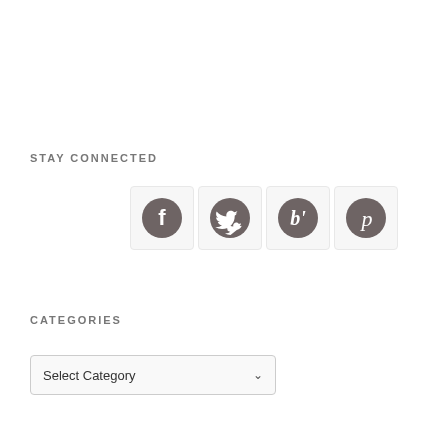STAY CONNECTED
[Figure (illustration): Four social media icon buttons in a row: Facebook, Twitter, Bloglovin, Pinterest — each a dark grey circle inside a light square tile]
CATEGORIES
Select Category